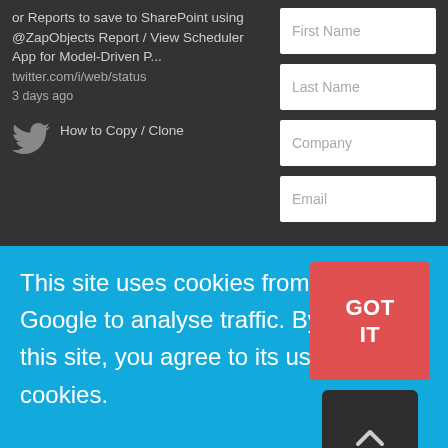or Reports to save to SharePoint using @ZapObjects Report / View Scheduler App for Model-Driven P... twitter.com/i/web/status 3 days ago
[Figure (illustration): Twitter bird icon (gray)]
How to Copy / Clone
First Name
Last Name
Company
Email
This site uses cookies from Google to analyse traffic. By using this site, you agree to its use of cookies.